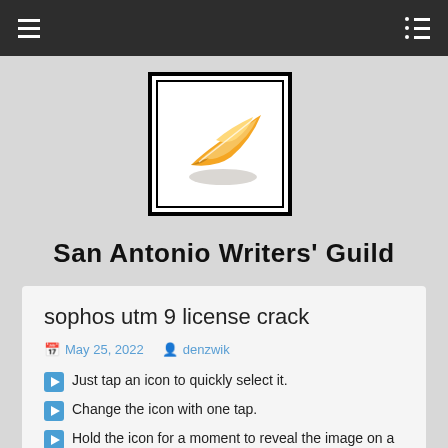navigation header with hamburger menu and list icon
[Figure (logo): San Antonio Writers Guild logo: orange/yellow quill pen feather on white background inside double-bordered black frame]
San Antonio Writers' Guild
sophos utm 9 license crack
May 25, 2022   denzwik
Just tap an icon to quickly select it.
Change the icon with one tap.
Hold the icon for a moment to reveal the image on a lightbox.